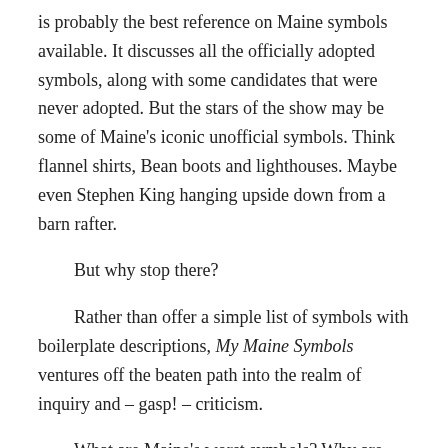is probably the best reference on Maine symbols available. It discusses all the officially adopted symbols, along with some candidates that were never adopted. But the stars of the show may be some of Maine's iconic unofficial symbols. Think flannel shirts, Bean boots and lighthouses. Maybe even Stephen King hanging upside down from a barn rafter.
But why stop there?
Rather than offer a simple list of symbols with boilerplate descriptions, My Maine Symbols ventures off the beaten path into the realm of inquiry and – gasp! – criticism.
What are Maine's worst symbols? Why are Mainers hiding their official ballad and march? Should Mainers adopt a new flag…or an old one? And where is the best place in Maine to watch the sun rise?
This book doesn't have all the answers, but it offers lots of